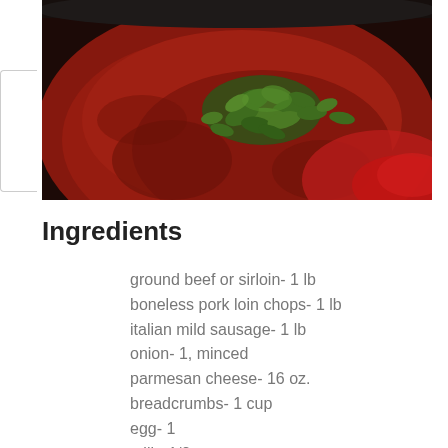[Figure (photo): A dark cooking pot/pan containing red tomato sauce with fresh green herbs (basil or parsley) scattered on top, viewed from above. A red pot handle or lid is visible in the lower right corner.]
Ingredients
ground beef or sirloin- 1 lb
boneless pork loin chops- 1 lb
italian mild sausage- 1 lb
onion- 1, minced
parmesan cheese- 16 oz.
breadcrumbs- 1 cup
egg- 1
milk- 1/2 cup